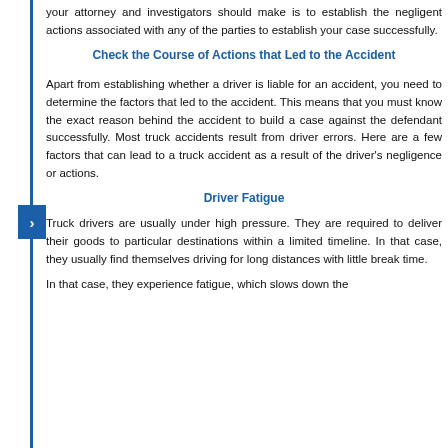your attorney and investigators should make is to establish the negligent actions associated with any of the parties to establish your case successfully.
Check the Course of Actions that Led to the Accident
Apart from establishing whether a driver is liable for an accident, you need to determine the factors that led to the accident. This means that you must know the exact reason behind the accident to build a case against the defendant successfully. Most truck accidents result from driver errors. Here are a few factors that can lead to a truck accident as a result of the driver's negligence or actions.
Driver Fatigue
Truck drivers are usually under high pressure. They are required to deliver their goods to particular destinations within a limited timeline. In that case, they usually find themselves driving for long distances with little break time.
In that case, they experience fatigue, which slows down the